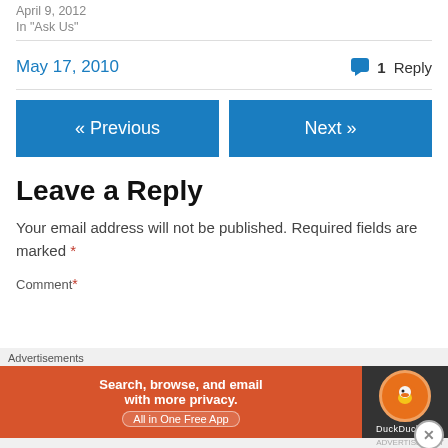April 9, 2012
In "Ask Us"
May 17, 2010    1 Reply
« Previous
Next »
Leave a Reply
Your email address will not be published. Required fields are marked *
[Figure (screenshot): DuckDuckGo advertisement banner: Search, browse, and email with more privacy. All in One Free App.]